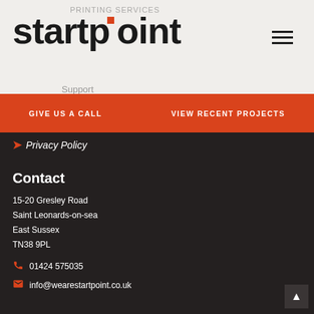startpoint (logo)
GIVE US A CALL   VIEW RECENT PROJECTS
Privacy Policy
Contact
15-20 Gresley Road
Saint Leonards-on-sea
East Sussex
TN38 9PL
01424 575035
info@wearestartpoint.co.uk